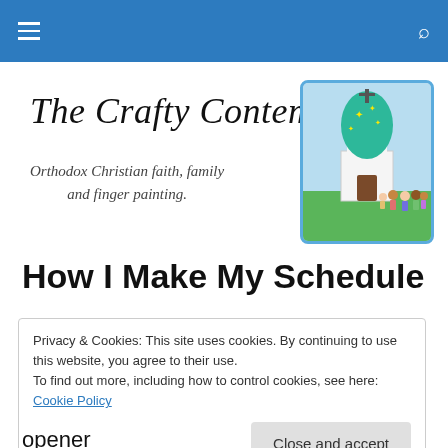Navigation bar with hamburger menu and search icon
The Crafty Contemplative
Orthodox Christian faith, family and finger painting.
[Figure (illustration): Cartoon illustration of an Orthodox Christian church with a green onion dome and small figures of people standing in front, framed with a light blue border]
How I Make My Schedule
Privacy & Cookies: This site uses cookies. By continuing to use this website, you agree to their use.
To find out more, including how to control cookies, see here: Cookie Policy
Close and accept
opener